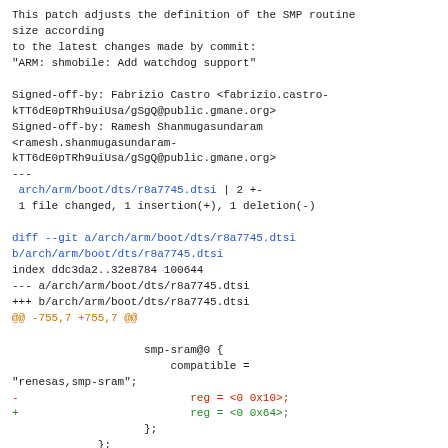This patch adjusts the definition of the SMP routine size according
to the latest changes made by commit:
"ARM: shmobile: Add watchdog support"

Signed-off-by: Fabrizio Castro <fabrizio.castro-kTT6dE0pTRh9uiUsa/gSgQ@public.gmane.org>
Signed-off-by: Ramesh Shanmugasundaram
<ramesh.shanmugasundaram-kTT6dE0pTRh9uiUsa/gSgQ@public.gmane.org>
---
 arch/arm/boot/dts/r8a7745.dtsi | 2 +-
 1 file changed, 1 insertion(+), 1 deletion(-)

diff --git a/arch/arm/boot/dts/r8a7745.dtsi b/arch/arm/boot/dts/r8a7745.dtsi
index ddc3da2..32e8784 100644
--- a/arch/arm/boot/dts/r8a7745.dtsi
+++ b/arch/arm/boot/dts/r8a7745.dtsi
@@ -755,7 +755,7 @@

				smp-sram@0 {
					compatible =
"renesas,smp-sram";
-					reg = <0 0x10>;
+					reg = <0 0x64>;
				};
			};